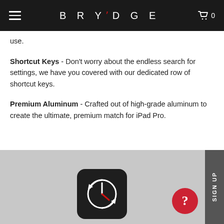BRYDGE
use.
Shortcut Keys - Don't worry about the endless search for settings, we have you covered with our dedicated row of shortcut keys.
Premium Aluminum - Crafted out of high-grade aluminum to create the ultimate, premium match for iPad Pro.
[Figure (screenshot): Gray section with a dark app icon showing a clock with circular arrows (time-sync icon), a red circular help/question-mark button, and a vertical dark gray 'SIGN UP' tab on the right edge.]